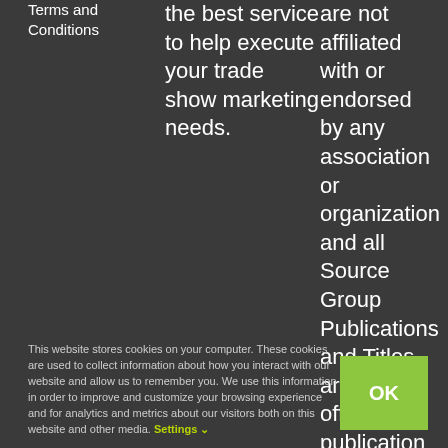Terms and Conditions
the best service to help execute your trade show marketing needs.
are not affiliated with or endorsed by any association or organization and all Source Group Publications and Titles are not an official publication for any show
This website stores cookies on your computer. These cookies are used to collect information about how you interact with our website and allow us to remember you. We use this information in order to improve and customize your browsing experience and for analytics and metrics about our visitors both on this website and other media. Settings ∨
OK